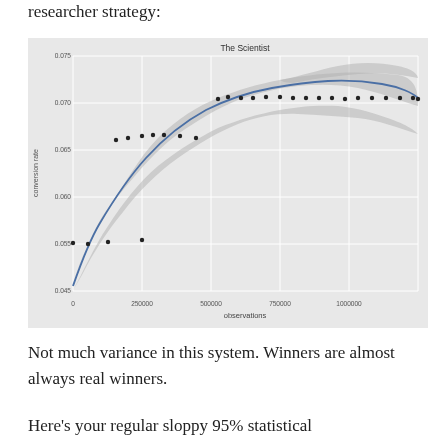researcher strategy:
[Figure (continuous-plot): A continuous curve plot titled 'The Scientist' showing conversion rate (y-axis, range ~0.045 to 0.075) vs observations (x-axis, 0 to 1000000). A blue fitted curve rises steeply then levels off, with a grey confidence band. Scatter dots are visible at various observation counts.]
Not much variance in this system. Winners are almost always real winners.
Here's your regular sloppy 95% statistical